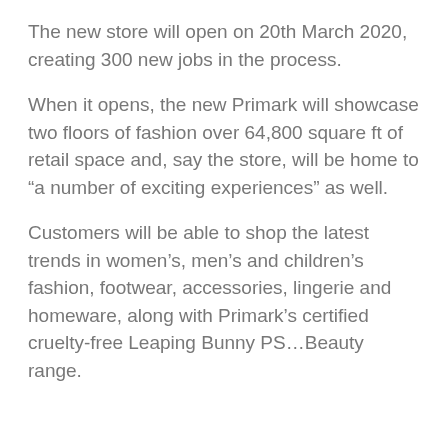The new store will open on 20th March 2020, creating 300 new jobs in the process.
When it opens, the new Primark will showcase two floors of fashion over 64,800 square ft of retail space and, say the store, will be home to “a number of exciting experiences” as well.
Customers will be able to shop the latest trends in women’s, men’s and children’s fashion, footwear, accessories, lingerie and homeware, along with Primark’s certified cruelty-free Leaping Bunny PS…Beauty range.